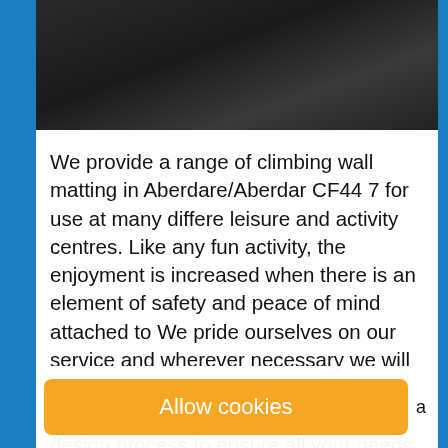[Figure (photo): Dark background image at top of page, appears to be a climbing wall or dark surface]
We provide a range of climbing wall matting in Aberdare/Aberdar CF44 7 for use at many different leisure and activity centres. Like any fun activity, the enjoyment is increased when there is an element of safety and peace of mind attached to it. We pride ourselves on our service and wherever necessary we will visit your site to get an accurate measure. We provide close consultancy during the design process to ensure all your needs are met with regards to performance, safety and budget to provide you peace of mind. All our protective matting are then manufactured and shipped complete to be installed either by our team or in many cases we...
Allow cookies
a